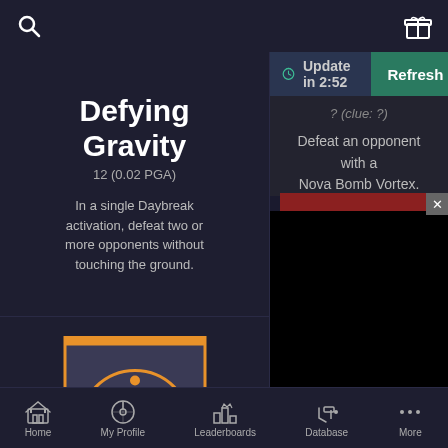[Figure (screenshot): Search icon in top left of app header]
[Figure (screenshot): Gift/present icon in top right of app header]
Defying Gravity
12 (0.02 PGA)
In a single Daybreak activation, defeat two or more opponents without touching the ground.
Update in 2:52
Refresh
(clue: ?)
Defeat an opponent with a Nova Bomb Vortex.
[Figure (illustration): Orange sun/compass emblem banner icon for Destiny 2 game]
From
Home  My Profile  Leaderboards  Database  More